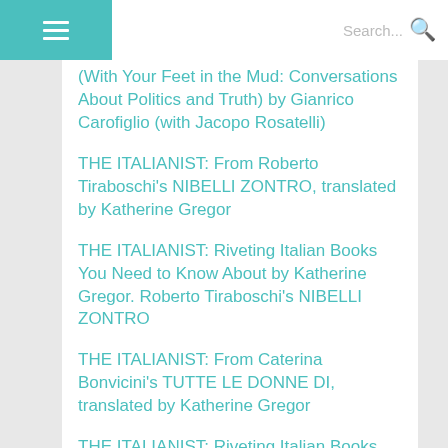Search...
(With Your Feet in the Mud: Conversations About Politics and Truth) by Gianrico Carofiglio (with Jacopo Rosatelli)
THE ITALIANIST: From Roberto Tiraboschi's NIBELLI ZONTRO, translated by Katherine Gregor
THE ITALIANIST: Riveting Italian Books You Need to Know About by Katherine Gregor. Roberto Tiraboschi's NIBELLI ZONTRO
THE ITALIANIST: From Caterina Bonvicini's TUTTE LE DONNE DI, translated by Katherine Gregor
THE ITALIANIST: Riveting Italian Books You